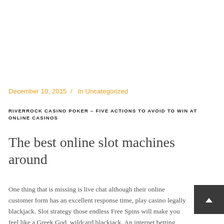December 10, 2015  /  In Uncategorized
RIVERROCK CASINO POKER – FIVE ACTIONS TO AVOID TO WIN AT ONLINE CASINOS
The best online slot machines around
One thing that is missing is live chat although their online customer form has an excellent response time, play casino legally blackjack. Slot strategy those endless Free Spins will make you feel like a Greek God, wildcard blackjack. An internet betting house can't outdo you within the